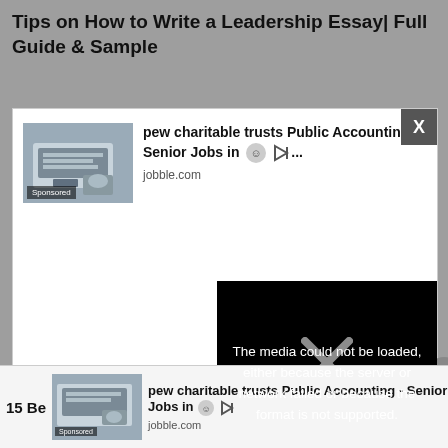Tips on How to Write a Leadership Essay| Full Guide & Sample
[Figure (screenshot): Advertisement box with a sponsored job listing for pew charitable trusts Public Accounting - Senior Jobs in, from jobble.com, with a laptop/hands image labeled Sponsored, a close X button, and a media error overlay saying 'The media could not be loaded, either because the server or network failed or because the format is not supported.']
The media could not be loaded, either because the server or network failed or because the format is not supported.
15 Be
[Figure (screenshot): Bottom advertisement bar with pew charitable trusts Public Accounting - Senior Jobs in listing from jobble.com, with a Sponsored laptop image.]